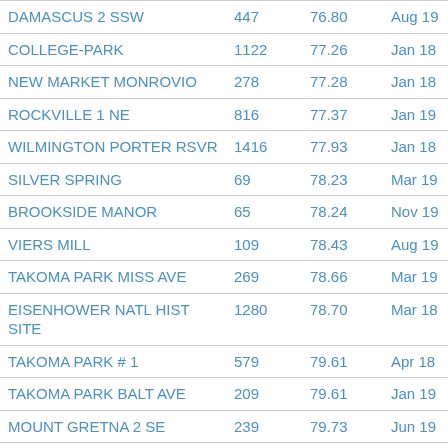| Name | Col2 | Col3 | Col4 |
| --- | --- | --- | --- |
| DAMASCUS 2 SSW | 447 | 76.80 | Aug 19 |
| COLLEGE-PARK | 1122 | 77.26 | Jan 18 |
| NEW MARKET MONROVIO | 278 | 77.28 | Jan 18 |
| ROCKVILLE 1 NE | 816 | 77.37 | Jan 19 |
| WILMINGTON PORTER RSVR | 1416 | 77.93 | Jan 18 |
| SILVER SPRING | 69 | 78.23 | Mar 19 |
| BROOKSIDE MANOR | 65 | 78.24 | Nov 19 |
| VIERS MILL | 109 | 78.43 | Aug 19 |
| TAKOMA PARK MISS AVE | 269 | 78.66 | Mar 19 |
| EISENHOWER NATL HIST SITE | 1280 | 78.70 | Mar 18 |
| TAKOMA PARK # 1 | 579 | 79.61 | Apr 18 |
| TAKOMA PARK BALT AVE | 209 | 79.61 | Jan 19 |
| MOUNT GRETNA 2 SE | 239 | 79.73 | Jun 19 |